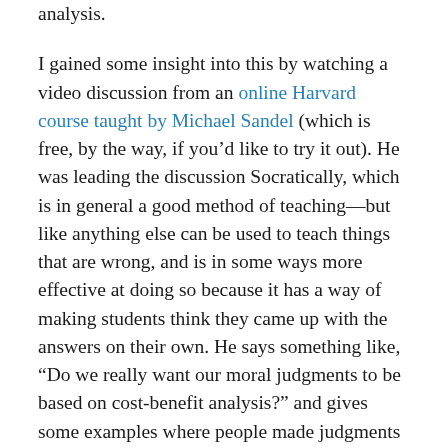analysis.

I gained some insight into this by watching a video discussion from an online Harvard course taught by Michael Sandel (which is free, by the way, if you'd like to try it out). He was leading the discussion Socratically, which is in general a good method of teaching—but like anything else can be used to teach things that are wrong, and is in some ways more effective at doing so because it has a way of making students think they came up with the answers on their own. He says something like, “Do we really want our moral judgments to be based on cost-benefit analysis?” and gives some examples where people made judgments using cost-benefit analysis to support his suggestion that this is